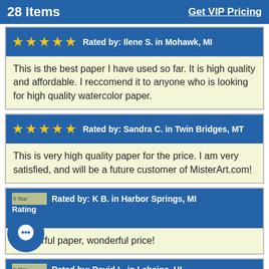28 Items   Get VIP Pricing
Rated by: Ilene S. in Mohawk, MI
This is the best paper I have used so far. It is high quality and affordable. I reccomend it to anyone who is looking for high quality watercolor paper.
Rated by: Sandra C. in Twin Bridges, MT
This is very high quality paper for the price. I am very satisfied, and will be a future customer of MisterArt.com!
5 Star Rating   Rated by: K B. in Harbor Springs, MI
wonderful paper, wonderful price!
5 Star Rating   Rated by: David L. in Lahaina, HI